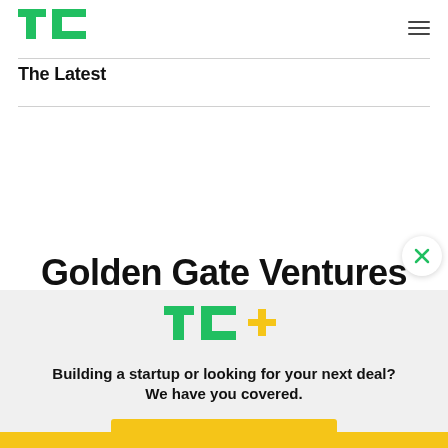[Figure (logo): TechCrunch TC logo in green]
[Figure (other): Hamburger menu icon (three horizontal lines)]
The Latest
Golden Gate Ventures
[Figure (logo): TechCrunch TC+ logo in green with gold plus sign]
Building a startup or looking for your next deal? We have you covered.
EXPLORE NOW